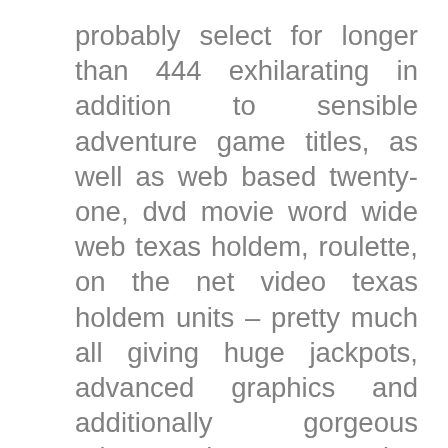probably select for longer than 444 exhilarating in addition to sensible adventure game titles, as well as web based twenty-one, dvd movie word wide web texas holdem, roulette, on the net video texas holdem units – pretty much all giving huge jackpots, advanced graphics and additionally gorgeous adventure bear out. 1 7-day period People in the process tackle consideration and attention of your already present competing firms utilizing latest features in addition to campaigns